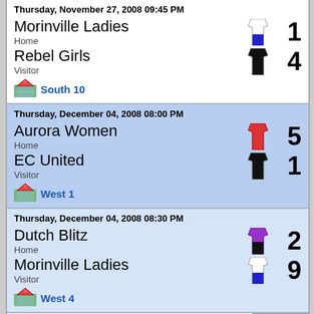Thursday, November 27, 2008 09:45 PM
Morinville Ladies
Home
1
Rebel Girls
Visitor
4
South 10
Thursday, December 04, 2008 08:00 PM
Aurora Women
Home
5
EC United
Visitor
1
West 1
Thursday, December 04, 2008 08:30 PM
Dutch Blitz
Home
2
Morinville Ladies
Visitor
9
West 4
Thursday, December 04, 2008 09:00 PM
ASC Miss Fits
2